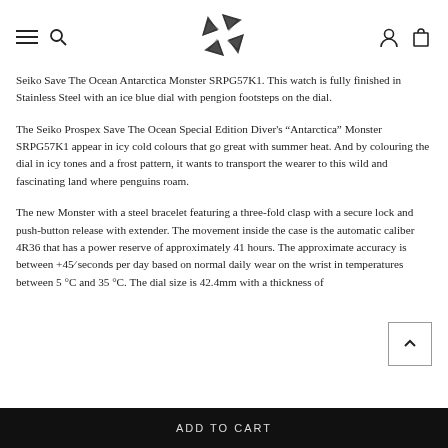[navigation: hamburger menu, search icon, logo, user icon, cart icon]
Seiko Save The Ocean Antarctica Monster SRPG57K1. This watch is fully finished in Stainless Steel with an ice blue dial with pengion footsteps on the dial.
The Seiko Prospex Save The Ocean Special Edition Diver's "Antarctica" Monster SRPG57K1 appear in icy cold colours that go great with summer heat. And by colouring the dial in icy tones and a frost pattern, it wants to transport the wearer to this wild and fascinating land where penguins roam.
The new Monster with a steel bracelet featuring a three-fold clasp with a secure lock and push-button release with extender. The movement inside the case is the automatic caliber 4R36 that has a power reserve of approximately 41 hours. The approximate accuracy is between +45 seconds per day based on normal daily wear on the wrist in temperatures between 5 °C and 35 °C. The dial size is 42.4mm with a thickness of
ADD TO CART